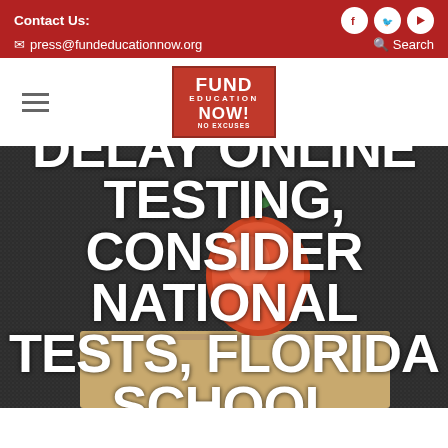Contact Us: press@fundeducationnow.org | Search | Facebook | Twitter | YouTube
[Figure (logo): Fund Education Now! No Excuses logo — red square with white text]
DELAY ONLINE TESTING, CONSIDER NATIONAL TESTS, FLORIDA SCHOOL
[Figure (photo): Background photo of a red apple sitting on a stack of books against a dark/chalkboard background]